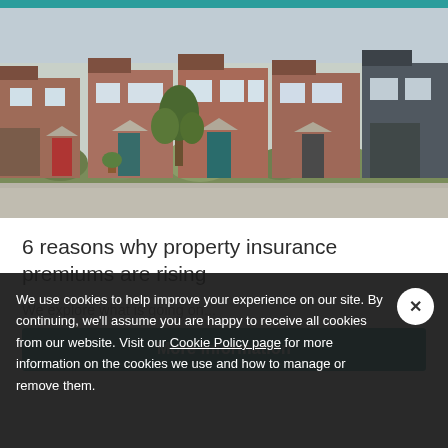[Figure (photo): Photograph of a row of brick terraced/semi-detached residential houses with gardens, awnings over doors and windows, on a residential street]
6 reasons why property insurance premiums are rising
We explore what is going on...
More information
We use cookies to help improve your experience on our site. By continuing, we'll assume you are happy to receive all cookies from our website. Visit our Cookie Policy page for more information on the cookies we use and how to manage or remove them.